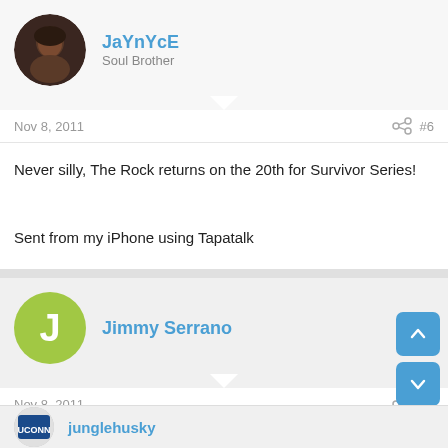JaYnYcE
Soul Brother
Nov 8, 2011  #6
Never silly, The Rock returns on the 20th for Survivor Series!

Sent from my iPhone using Tapatalk
Jimmy Serrano
Nov 8, 2011  #7
So true. I'd love to get back to the point where we discuss the actual games that just took place.
junglehusky